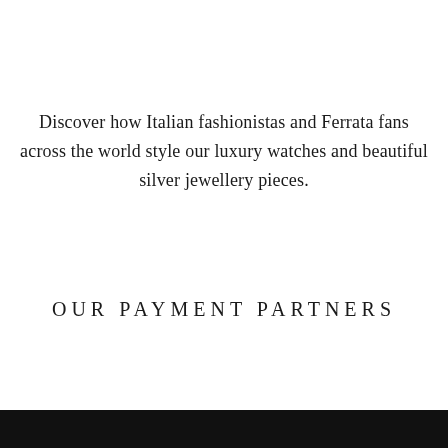Discover how Italian fashionistas and Ferrata fans across the world style our luxury watches and beautiful silver jewellery pieces.
OUR PAYMENT PARTNERS